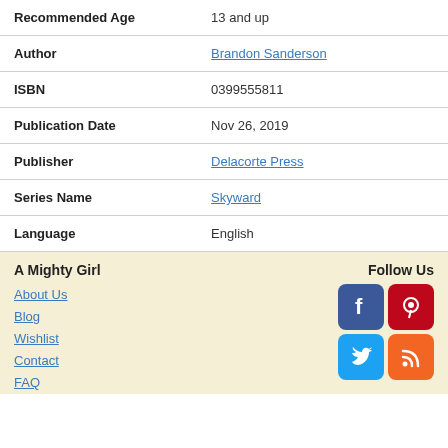| Field | Value |
| --- | --- |
| Recommended Age | 13 and up |
| Author | Brandon Sanderson |
| ISBN | 0399555811 |
| Publication Date | Nov 26, 2019 |
| Publisher | Delacorte Press |
| Series Name | Skyward |
| Language | English |
A Mighty Girl
Follow Us
About Us
Blog
Wishlist
Contact
FAQ